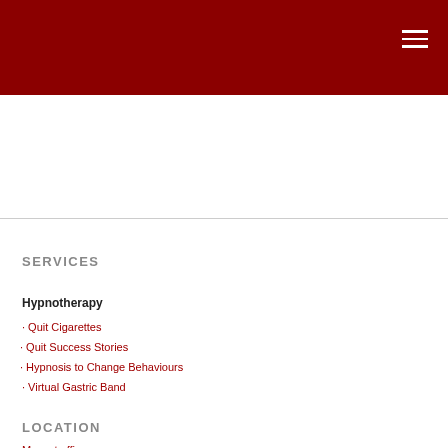SERVICES
Hypnotherapy
Quit Cigarettes
Quit Success Stories
Hypnosis to Change Behaviours
Virtual Gastric Band
LOCATION
Mascot office